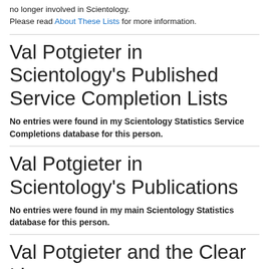no longer involved in Scientology.
Please read About These Lists for more information.
Val Potgieter in Scientology's Published Service Completion Lists
No entries were found in my Scientology Statistics Service Completions database for this person.
Val Potgieter in Scientology's Publications
No entries were found in my main Scientology Statistics database for this person.
Val Potgieter and the Clear List